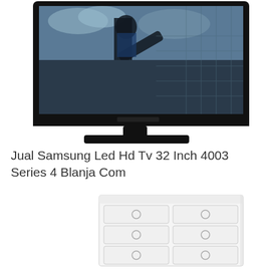[Figure (photo): Samsung flat-screen LED TV (32 inch) showing a martial artist kicking on screen, with a wide black bezel and flat black stand, on a white background.]
Jual Samsung Led Hd Tv 32 Inch 4003 Series 4 Blanja Com
[Figure (photo): White dresser / chest of drawers with multiple drawers arranged in two columns, each with circular handles, photographed on a white background.]